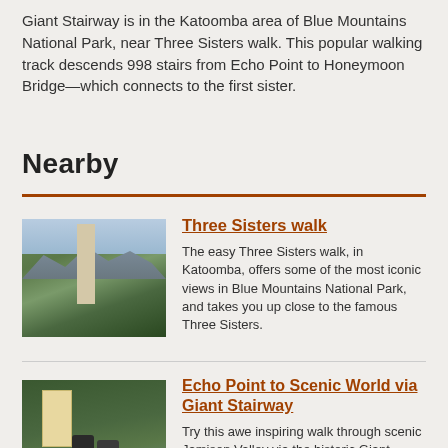Giant Stairway is in the Katoomba area of Blue Mountains National Park, near Three Sisters walk. This popular walking track descends 998 stairs from Echo Point to Honeymoon Bridge—which connects to the first sister.
Nearby
Three Sisters walk
[Figure (photo): Photo of Three Sisters walk area showing trees and mountain views in Blue Mountains National Park]
The easy Three Sisters walk, in Katoomba, offers some of the most iconic views in Blue Mountains National Park, and takes you up close to the famous Three Sisters.
Echo Point to Scenic World via Giant Stairway
[Figure (photo): Photo of Echo Point to Scenic World via Giant Stairway trail showing walkers on a forest path]
Try this awe inspiring walk through scenic Jamison Valley via the historic Giant Stairway from Echo Point to Scenic World, in Blue Mountains National Park.